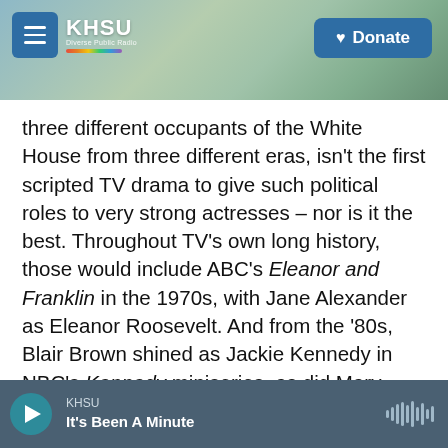[Figure (screenshot): KHSU public radio website header with coastal landscape background, hamburger menu button, KHSU logo with rainbow stripe, and Donate button]
three different occupants of the White House from three different eras, isn't the first scripted TV drama to give such political roles to very strong actresses – nor is it the best. Throughout TV's own long history, those would include ABC's Eleanor and Franklin in the 1970s, with Jane Alexander as Eleanor Roosevelt. And from the '80s, Blair Brown shined as Jackie Kennedy in NBC's Kennedy miniseries, as did Mary Tyler Moore as Mary Todd Lincoln in NBC's Lincoln.
Showtime's new The First Lady miniseries has performers, and performances, every bit the equal
KHSU
It's Been A Minute